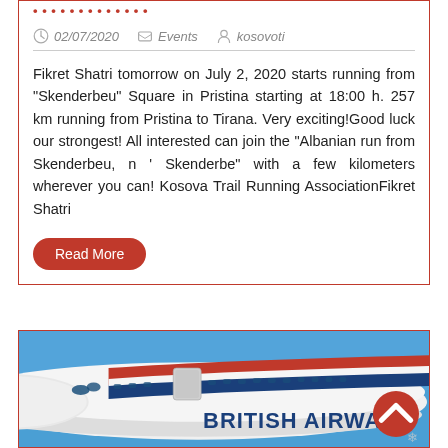• • • • • • • • • • • • •
02/07/2020   Events   kosovoti
Fikret Shatri tomorrow on July 2, 2020 starts running from “Skenderbeu” Square in Pristina starting at 18:00 h. 257 km running from Pristina to Tirana. Very exciting!Good luck our strongest! All interested can join the “Albanian run from Skenderbeu, n ’ Skenderbe” with a few kilometers wherever you can! Kosova Trail Running AssociationFikret Shatri
Read More
[Figure (photo): Front fuselage of a British Airways airplane with red, white and blue livery against a blue sky background, showing the cockpit windows and BRITISH AIRWAYS text on the fuselage]